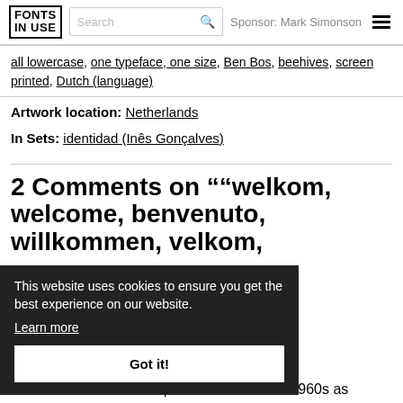FONTS IN USE | Search | Sponsor: Mark Simonson
all lowercase, one typeface, one size, Ben Bos, beehives, screen printed, Dutch (language)
Artwork location: Netherlands
In Sets: identidad (Inês Gonçalves)
2 Comments on ""welkom, welcome, benvenuto, willkommen, velkom, [...]or De
This website uses cookies to ensure you get the best experience on our website. Learn more Got it!
ollone has it that the corporate fa[...] ities of the 1960s as